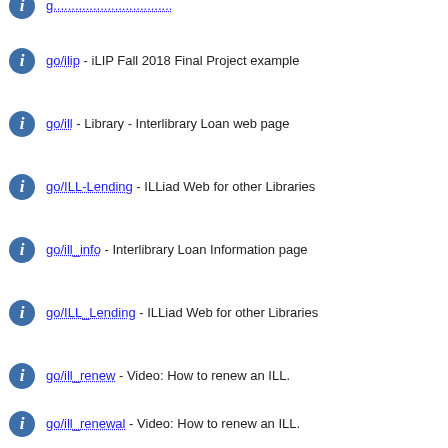go/ilip - iLIP Fall 2018 Final Project example
go/ill - Library - Interlibrary Loan web page
go/ILL-Lending - ILLiad Web for other Libraries
go/ill_info - Interlibrary Loan Information page
go/ILL_Lending - ILLiad Web for other Libraries
go/ill_renew - Video: How to renew an ILL.
go/ill_renewal - Video: How to renew an ILL.
go/illguide - Library guide for Interlibrary loan (ILL)